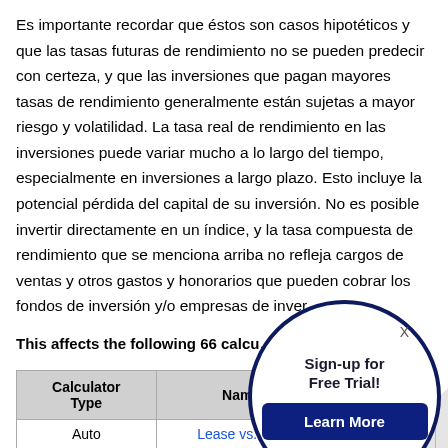Es importante recordar que éstos son casos hipotéticos y que las tasas futuras de rendimiento no se pueden predecir con certeza, y que las inversiones que pagan mayores tasas de rendimiento generalmente están sujetas a mayor riesgo y volatilidad. La tasa real de rendimiento en las inversiones puede variar mucho a lo largo del tiempo, especialmente en inversiones a largo plazo. Esto incluye la potencial pérdida del capital de su inversión. No es posible invertir directamente en un índice, y la tasa compuesta de rendimiento que se menciona arriba no refleja cargos de ventas y otros gastos y honorarios que pueden cobrar los fondos de inversión y/o empresas de inver…
This affects the following 66 calcu…
| Calculator Type | Name |  |
| --- | --- | --- |
| Auto | Lease vs. Buy | Buyin… |
[Figure (other): Sign-up for Free Trial popup overlay with circular border, X close button, title 'Sign-up for Free Trial!' and a dark blue 'Learn More' button.]